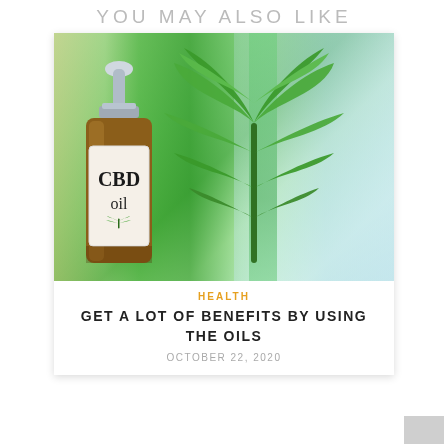YOU MAY ALSO LIKE
[Figure (photo): CBD oil bottle with dropper cap next to cannabis leaves, with blurred green laboratory background]
HEALTH
GET A LOT OF BENEFITS BY USING THE OILS
OCTOBER 22, 2020